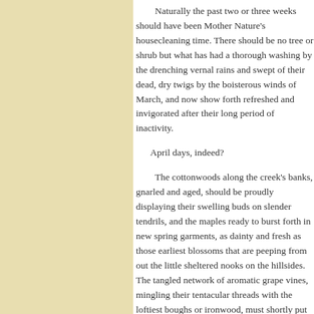Naturally the past two or three weeks should have been Mother Nature's housecleaning time. There should be no tree or shrub but what has had a thorough washing by the drenching vernal rains and swept of their dead, dry twigs by the boisterous winds of March, and now show forth refreshed and invigorated after their long period of inactivity.
April days, indeed?
The cottonwoods along the creek's banks, gnarled and aged, should be proudly displaying their swelling buds on slender tendrils, and the maples ready to burst forth in new spring garments, as dainty and fresh as those earliest blossoms that are peeping from out the little sheltered nooks on the hillsides. The tangled network of aromatic grape vines, mingling their tentacular threads with the loftiest boughs or ironwood, must shortly put forth their wealth of creamy flowers, while the brook willows, laden with downy promise of full rich leafage. The rolling prairie land is out slowly donning a faint tinge of emerald, but like an exploit in prestidigitation will shortly be covered with wild flowers, while overhead hang a bright, blue sky, flecked, perhaps, with little clouds that will cast shifting shadows upon the rural lands